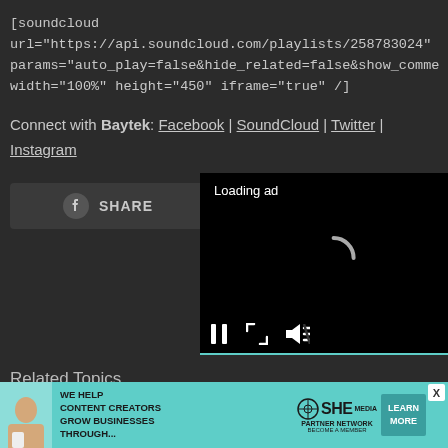[soundcloud url="https://api.soundcloud.com/playlists/258783024" params="auto_play=false&hide_related=false&show_comme... width="100%" height="450" iframe="true" /]
Connect with Baytek: Facebook | SoundCloud | Twitter | Instagram
[Figure (screenshot): Facebook Share button, dark background]
[Figure (screenshot): Video ad player loading with spinner, pause/fullscreen/mute controls]
Related Topics
[Figure (infographic): SHE Media Partner Network banner ad: We help content creators grow businesses through... Learn More button, woman with laptop photo]